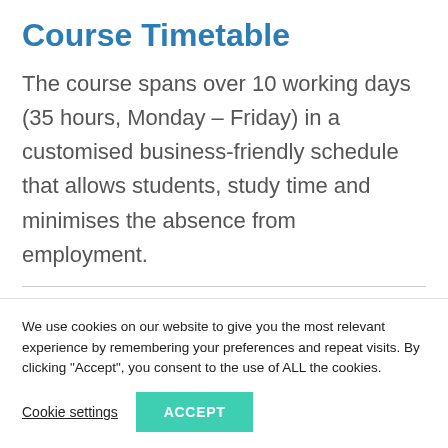Course Timetable
The course spans over 10 working days (35 hours, Monday – Friday) in a customised business-friendly schedule that allows students, study time and minimises the absence from employment.
We use cookies on our website to give you the most relevant experience by remembering your preferences and repeat visits. By clicking “Accept”, you consent to the use of ALL the cookies.
Cookie settings  ACCEPT